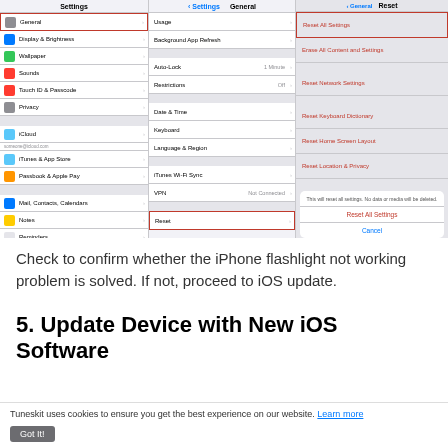[Figure (screenshot): Three iPhone Settings screens side by side: (1) Settings list with General highlighted, (2) General settings list with Reset highlighted, (3) Reset options screen with 'Reset All Settings' highlighted and a confirmation dialog showing 'Reset All Settings' button and 'Cancel' button.]
Check to confirm whether the iPhone flashlight not working problem is solved. If not, proceed to iOS update.
5. Update Device with New iOS Software
Tuneskit uses cookies to ensure you get the best experience on our website. Learn more
Got It!